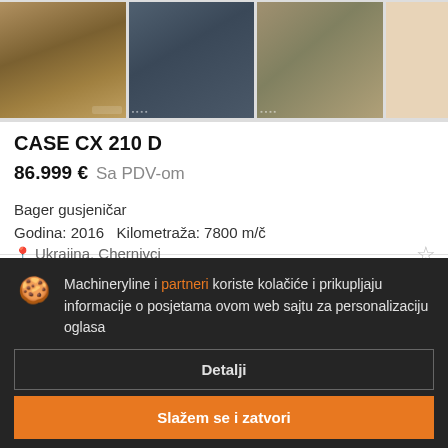[Figure (photo): Four thumbnail images of a CASE CX 210 D excavator from different angles. First three show the tracked excavator in outdoor settings, fourth is a partial peach-toned image.]
CASE CX 210 D
86.999 €  Sa PDV-om
Bager gusjeničar
Godina: 2016   Kilometraža: 7800 m/č
Ukrajina, Chernivci
Machineryline i partneri koriste kolačiće i prikupljaju informacije o posjetama ovom web sajtu za personalizaciju oglasa
Detalji
Slažem se i zatvori